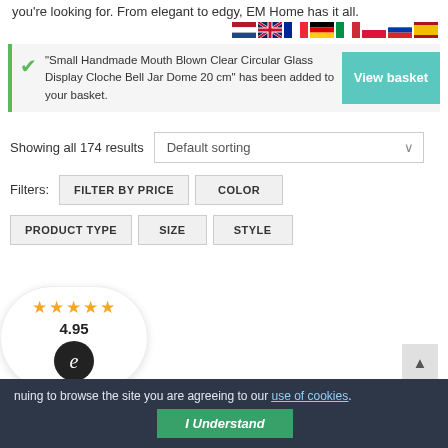you're looking for. From elegant to edgy, EM Home has it all.
[Figure (illustration): Row of country flag icons: Netherlands, UK, France, Germany, Italy, Poland, Russia, Spain]
"Small Handmade Mouth Blown Clear Circular Glass Display Cloche Bell Jar Dome 20 cm" has been added to your basket.
View basket
Showing all 174 results
Default sorting
Filters:
FILTER BY PRICE
COLOR
PRODUCT TYPE
SIZE
STYLE
4.95
nuing to browse the site you are agreeing to our use of cookies.
I Understand